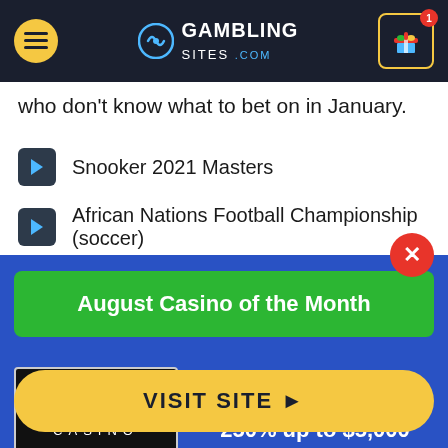GamblingSites.com
who don't know what to bet on in January.
Snooker 2021 Masters
African Nations Football Championship (soccer)
Darts 2021 Masters
August Casino of the Month
Welcome Bonus
250% up to $5,000
VISIT SITE ▶